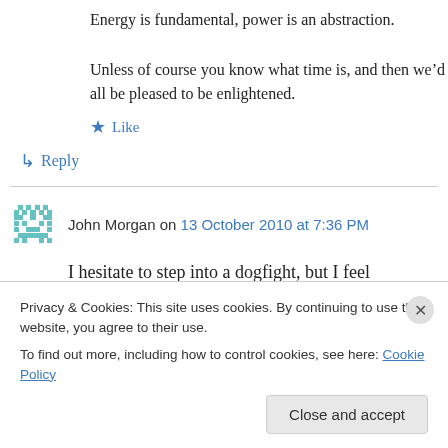Energy is fundamental, power is an abstraction.
Unless of course you know what time is, and then we’d all be pleased to be enlightened.
★ Like
↵ Reply
John Morgan on 13 October 2010 at 7:36 PM
I hesitate to step into a dogfight, but I feel compelled to note that both energy and power
Privacy & Cookies: This site uses cookies. By continuing to use this website, you agree to their use.
To find out more, including how to control cookies, see here: Cookie Policy
Close and accept